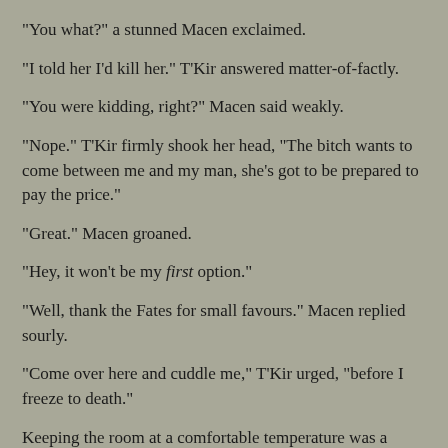"You what?" a stunned Macen exclaimed.
"I told her I'd kill her." T'Kir answered matter-of-factly.
"You were kidding, right?" Macen said weakly.
"Nope." T'Kir firmly shook her head, "The bitch wants to come between me and my man, she's got to be prepared to pay the price."
"Great." Macen groaned.
"Hey, it won't be my first option."
"Well, thank the Fates for small favours." Macen replied sourly.
"Come over here and cuddle me," T'Kir urged, "before I freeze to death."
Keeping the room at a comfortable temperature was a struggle for them. T'Kir's ancestors were desert creatures. Although Shial had been cooler than Vulcan, the inhabitants had still required thick cloaks and pants in order to survive daily life. Macon came from a temporate world whose